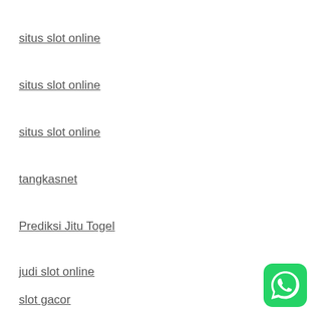situs slot online
situs slot online
situs slot online
tangkasnet
Prediksi Jitu Togel
judi slot online
slot gacor
[Figure (logo): WhatsApp green logo icon in bottom right corner]